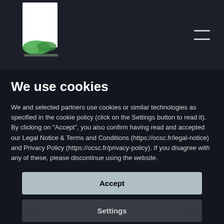[Figure (logo): Website logo with white rectangle and green leaf/plant icon, with text beneath]
We use cookies
We and selected partners use cookies or similar technologies as specified in the cookie policy (click on the Settings button to read it). By clicking on "Accept", you also confirm having read and accepted our Legal Notice & Terms and Conditions (https://ocsc.fr/legal-notice) and Privacy Policy (https://ocsc.fr/privacy-policy). If you disagree with any of these, please discontinue using the website.
Accept
Settings
Legal Notice